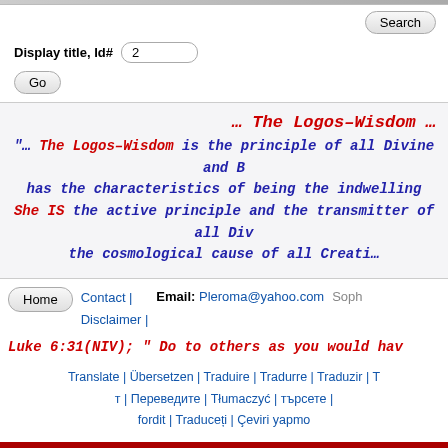[Figure (screenshot): Search button UI element at top right]
Display title, Id#  2
Go
… The Logos-Wisdom …
"… The Logos-Wisdom is the principle of all Divine and B… has the characteristics of being the indwelling … She IS the active principle and the transmitter of all Div… the cosmological cause of all Creati…
Home  Contact | Disclaimer |  Email: Pleroma@yahoo.com  Soph
Luke 6:31(NIV); " Do to others as you would hav
Translate | Übersetzen | Traduire | Tradurre | Traduzir | T… | Переведите | Tłumaczyć | … | … fordit | Traduceți | Çeviri yapmo…